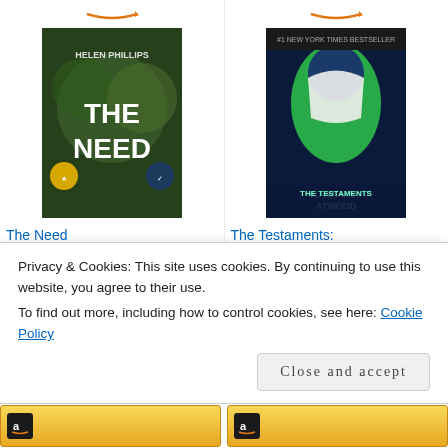[Figure (screenshot): Amazon product listing for 'The Need' by Helen Phillips showing book cover, price $12.99, and Shop now button]
The Need
$12.99
[Figure (screenshot): Amazon product listing for 'The Testaments: A Novel' by Margaret Atwood showing book cover, price $11.99, and Shop now button]
The Testaments: A Novel
$11.99
[Figure (screenshot): Amazon card with logo and partial book cover (Carol Moore Inside...)]
[Figure (screenshot): Amazon card with logo and partial book cover (The Paper Wasp)]
Privacy & Cookies: This site uses cookies. By continuing to use this website, you agree to their use.
To find out more, including how to control cookies, see here: Cookie Policy
Close and accept